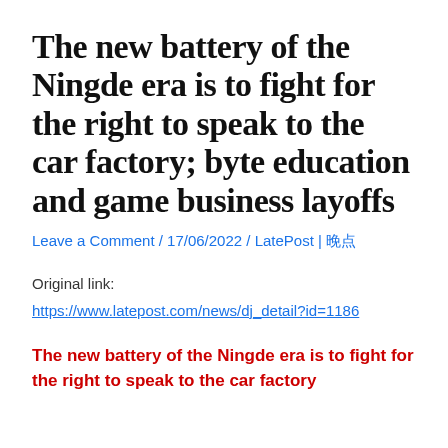The new battery of the Ningde era is to fight for the right to speak to the car factory; byte education and game business layoffs
Leave a Comment / 17/06/2022 / LatePost | 晚点
Original link:
https://www.latepost.com/news/dj_detail?id=1186
The new battery of the Ningde era is to fight for the right to speak to the car factory